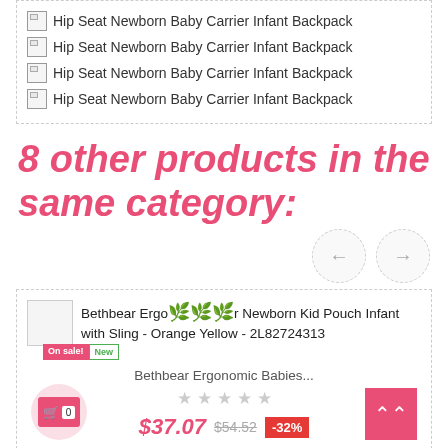[Figure (screenshot): Four broken image placeholders each labeled 'Hip Seat Newborn Baby Carrier Infant Backpack' inside a dashed border box]
8 other products in the same category:
[Figure (screenshot): Navigation arrows (left and right) in dashed circular buttons]
[Figure (screenshot): Product card for Bethbear Ergonomic Babies Carrier Newborn Kid Pouch Infant with Sling - Orange Yellow - 2L82724313, showing On sale and New badges, star rating, price $37.07 (was $54.52, -32% discount), cart button, and scroll-to-top button]